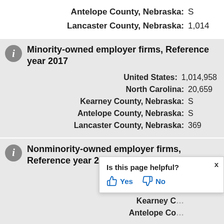Antelope County, Nebraska: S
Lancaster County, Nebraska: 1,014
Minority-owned employer firms, Reference year 2017
United States: 1,014,958
North Carolina: 20,659
Kearney County, Nebraska: S
Antelope County, Nebraska: S
Lancaster County, Nebraska: 369
Nonminority-owned employer firms, Reference year 2017
United States: 4,371,152
North Carolina: 133,887
Kearney County, Nebraska: (partially visible)
Antelope County, Nebraska: (partially visible)
[Figure (other): Is this page helpful? Yes / No tooltip overlay]